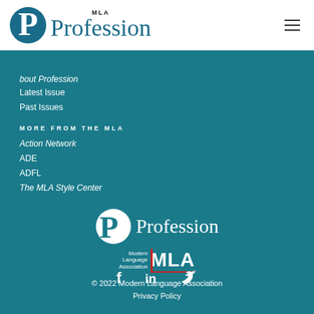MLA Profession
About Profession
Latest Issue
Past Issues
MORE FROM THE MLA
Action Network
ADE
ADFL
The MLA Style Center
[Figure (logo): MLA Profession logo with circular P icon and Profession text, plus Modern Language Association MLA logo below]
[Figure (infographic): Social media icons: Facebook, LinkedIn, Twitter]
© 2022 Modern Language Association
Privacy Policy